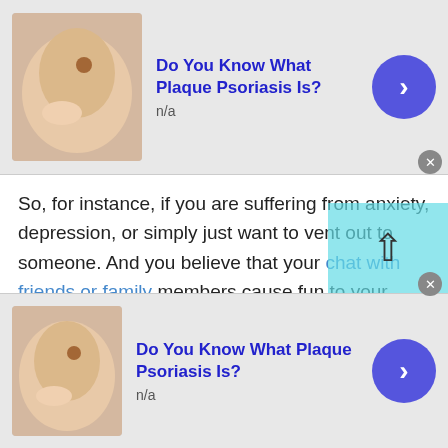[Figure (other): Top advertisement banner: skin image with 'Do You Know What Plaque Psoriasis Is?' title, n/a text, blue arrow button, and close X button]
So, for instance, if you are suffering from anxiety, depression, or simply just want to vent out to someone. And you believe that your chat with friends or family members cause fun to your sufferings. Then talking to a stranger is the only option left.

People enjoy chatting online specially people of Austria love to talk with strangers. Luckily, we have websites like Talkwithstranger where one can chat with people of Austria or any other country through
[Figure (other): Bottom advertisement banner: skin image with 'Do You Know What Plaque Psoriasis Is?' title, n/a text, blue arrow button, and close X button]